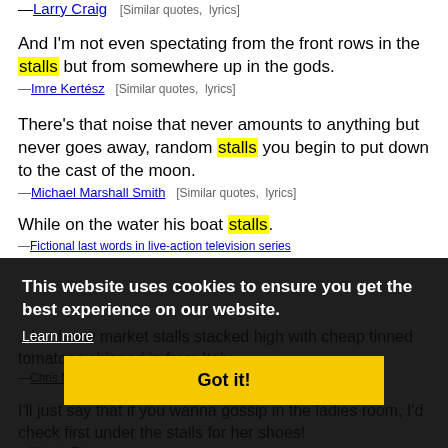—Larry Craig   [Similar quotes, lyrics]
And I'm not even spectating from the front rows in the stalls but from somewhere up in the gods.
—Imre Kertész   [Similar quotes, lyrics]
There's that noise that never amounts to anything but never goes away, random stalls you begin to put down to the cast of the moon.
—Michael Marshall Smith   [Similar quotes, lyrics]
While on the water his boat stalls.
Cookie banner: This website uses cookies to ensure you get the best experience on our website. Learn more. Got it!
...but I saw market stalls stacked high with cheap tinned tomatoes shipped in from Italy.
—Chris Marin   [Similar quotes, lyrics]
I'll just say that if you wanna gossip in the ladies room, I'd check first under the stalls for her shoes!
—Nine to Five   [Similar quotes, lyrics]